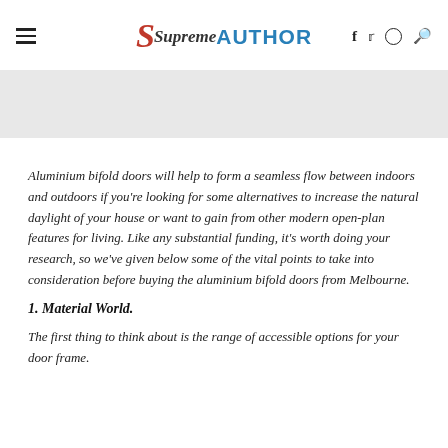Supreme AUTHOR — navigation header with burger menu, logo, and social icons (f, twitter, instagram, search)
[Figure (other): Gray banner placeholder image area]
Aluminium bifold doors will help to form a seamless flow between indoors and outdoors if you're looking for some alternatives to increase the natural daylight of your house or want to gain from other modern open-plan features for living. Like any substantial funding, it's worth doing your research, so we've given below some of the vital points to take into consideration before buying the aluminium bifold doors from Melbourne.
1. Material World.
The first thing to think about is the range of accessible options for your door frame.